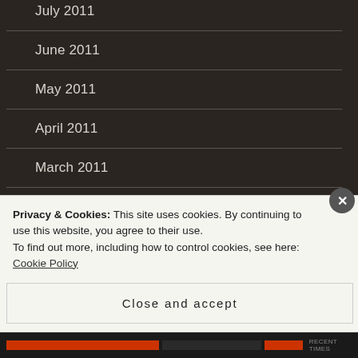July 2011
June 2011
May 2011
April 2011
March 2011
February 2011
January 2011
Privacy & Cookies: This site uses cookies. By continuing to use this website, you agree to their use.
To find out more, including how to control cookies, see here: Cookie Policy
Close and accept